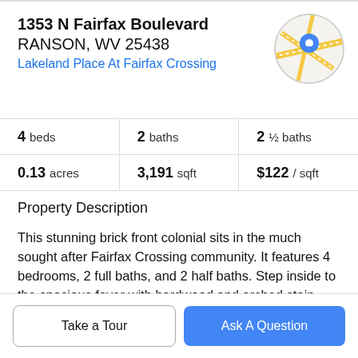1353 N Fairfax Boulevard
RANSON, WV 25438
Lakeland Place At Fairfax Crossing
[Figure (map): Circular map thumbnail showing street map with a blue location pin marker]
|  |  |  |
| --- | --- | --- |
| 4 beds | 2 baths | 2 ½ baths |
| 0.13 acres | 3,191 sqft | $122 / sqft |
Property Description
This stunning brick front colonial sits in the much sought after Fairfax Crossing community. It features 4 bedrooms, 2 full baths, and 2 half baths. Step inside to the spacious foyer with hardwood and arched stain glass window detail.. Double doors lead you into the formal living room
Take a Tour
Ask A Question